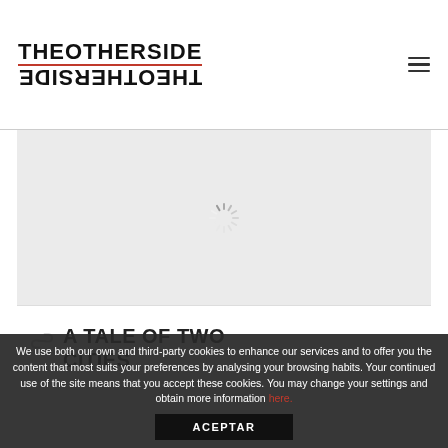THEOTHERSIDE (with mirrored logo below)
[Figure (photo): Light grey image placeholder area with a spinning loading indicator (radial lines) in the center]
A TALE OF TWO CITIES
We use both our own and third-party cookies to enhance our services and to offer you the content that most suits your preferences by analysing your browsing habits. Your continued use of the site means that you accept these cookies. You may change your settings and obtain more information here.
ACEPTAR